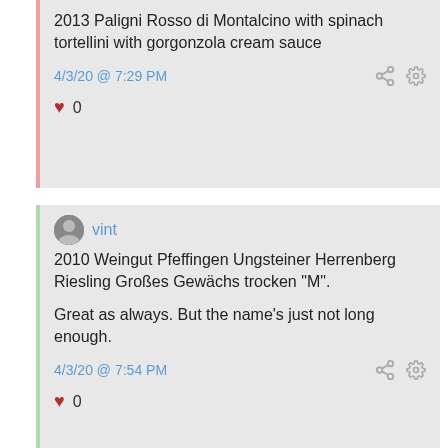2013 Paligni Rosso di Montalcino with spinach tortellini with gorgonzola cream sauce
4/3/20 @ 7:29 PM
0
vint
2010 Weingut Pfeffingen Ungsteiner Herrenberg Riesling Großes Gewächs trocken "M".
Great as always. But the name's just not long enough.
4/3/20 @ 7:54 PM
0